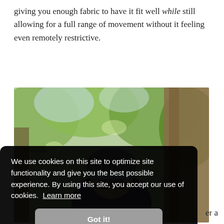giving you enough fabric to have it fit well while still allowing for a full range of movement without it feeling even remotely restrictive.
[Figure (photo): Person outdoors in a forest/wooded area wearing a puffy quilted hat/beanie and glasses, with trees and green foliage in the background. A cookie consent banner overlays the lower portion of the image.]
We use cookies on this site to optimize site functionality and give you the best possible experience. By using this site, you accept our use of cookies. Learn more
Got it!
er a